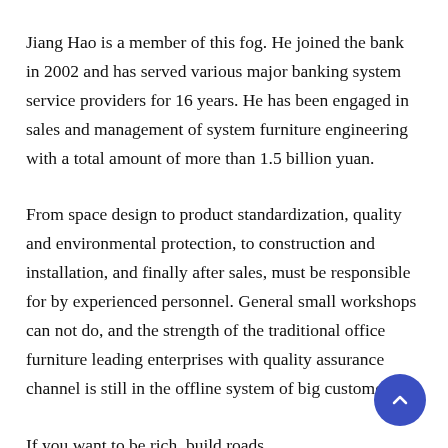Jiang Hao is a member of this fog. He joined the bank in 2002 and has served various major banking system service providers for 16 years. He has been engaged in sales and management of system furniture engineering with a total amount of more than 1.5 billion yuan.
From space design to product standardization, quality and environmental protection, to construction and installation, and finally after sales, must be responsible for by experienced personnel. General small workshops can not do, and the strength of the traditional office furniture leading enterprises with quality assurance channel is still in the offline system of big customers.
If you want to be rich, build roads.
It has become a revolution in the office furniture industry to open high-quality products with quality assurance to small and medium-